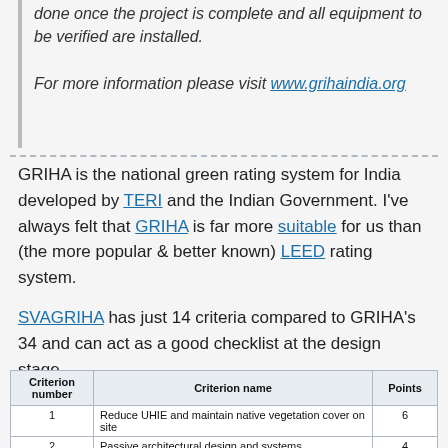done once the project is complete and all equipment to be verified are installed.

For more information please visit www.grihaindia.org
GRIHA is the national green rating system for India developed by TERI and the Indian Government. I've always felt that GRIHA is far more suitable for us than (the more popular & better known) LEED rating system.
SVAGRIHA has just 14 criteria compared to GRIHA's 34 and can act as a good checklist at the design stage.
| Criterion number | Criterion name | Points |
| --- | --- | --- |
| 1 | Reduce UHIE and maintain native vegetation cover on site | 6 |
| 2 | Passive architectural design and systems | 4 |
| 3 | Good fenestration design for reducing direct heat gain and glare while maximizing daylight penetration | 6 |
| 4 | Efficient artificial lighting system | 2 |